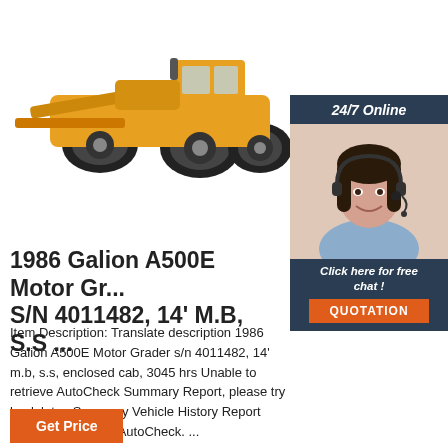[Figure (photo): Yellow motor grader / wheel loader construction machine on white background]
[Figure (photo): Customer service agent woman with headset, smiling, with '24/7 Online' header, 'Click here for free chat!' text, and orange QUOTATION button in a dark blue sidebar panel]
1986 Galion A500E Motor Gr... S/N 4011482, 14' M.B, S.S ...
Item Description: Translate description 1986 Galion A500E Motor Grader s/n 4011482, 14' m.b, s.s, enclosed cab, 3045 hrs Unable to retrieve AutoCheck Summary Report, please try back later. Summary Vehicle History Report below provided by AutoCheck. ...
[Figure (other): Orange 'Get Price' button]